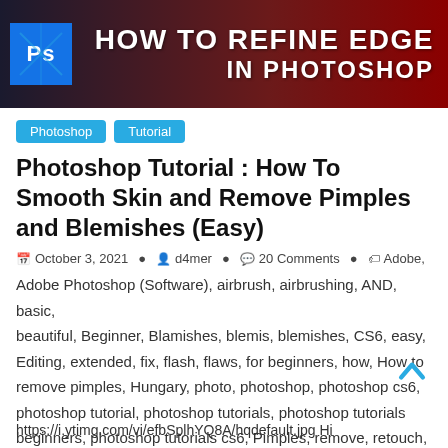[Figure (screenshot): Banner image with Photoshop logo on dark red/dark background and text 'HOW TO REFINE EDGE IN PHOTOSHOP' in white bold text on the right side]
Photoshop  Tutorial
Photoshop Tutorial : How To Smooth Skin and Remove Pimples and Blemishes (Easy)
October 3, 2021   d4mer   20 Comments   Adobe, Adobe Photoshop (Software), airbrush, airbrushing, AND, basic, beautiful, Beginner, Blamishes, blemis, blemishes, CS6, easy, Editing, extended, fix, flash, flaws, for beginners, how, How to remove pimples, Hungary, photo, photoshop, photoshop cs6, photoshop tutorial, photoshop tutorials, photoshop tutorials beginners, photoshop tutorials cs6, Pimples, remove, retouch, retouching, skin, smooth, smooth skin, to, tutorial, wrinkle, wrinkles
https://i.ytimg.com/vi/efbSplhYQ8A/hqdefault.jpg Hi